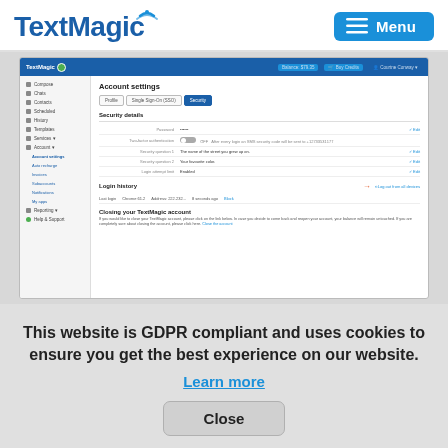TextMagic | Menu
[Figure (screenshot): Screenshot of TextMagic account settings page showing Security details section with password, two-factor authentication (OFF), security questions, and login attempts; Login history section with a red arrow pointing to 'Logout from all devices' button; and Closing your TextMagic account section.]
This website is GDPR compliant and uses cookies to ensure you get the best experience on our website.
Learn more
Close